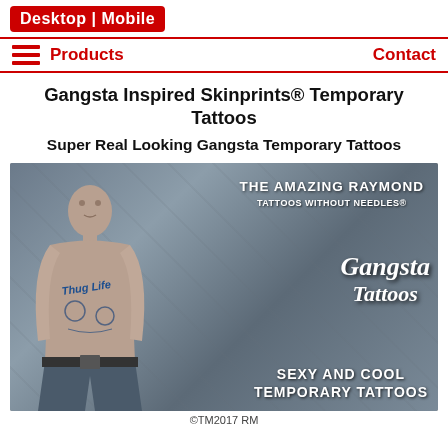Desktop | Mobile
Products   Contact
Gangsta Inspired Skinprints® Temporary Tattoos
Super Real Looking Gangsta Temporary Tattoos
[Figure (photo): A heavily tattooed shirtless man standing with arms folded, covered in gangsta-style tattoos including 'Thug Life' on his chest, with text overlays reading: THE AMAZING RAYMOND / TATTOOS WITHOUT NEEDLES® / Gangsta Tattoos / SEXY AND COOL TEMPORARY TATTOOS]
©TM2017 RM